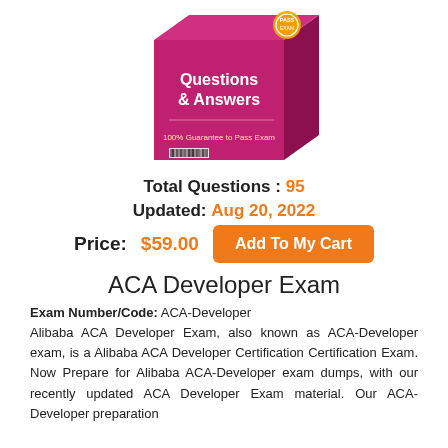[Figure (photo): Product box showing a pink/magenta exam preparation book with text 'Questions & Answers' and '100% Guarantee to Pass Exam']
Total Questions : 95
Updated: Aug 20, 2022
Price: $59.00  Add To My Cart
ACA Developer Exam
Exam Number/Code: ACA-Developer
Alibaba ACA Developer Exam, also known as ACA-Developer exam, is a Alibaba ACA Developer Certification Certification Exam. Now Prepare for Alibaba ACA-Developer exam dumps, with our recently updated ACA Developer Exam material. Our ACA-Developer preparation